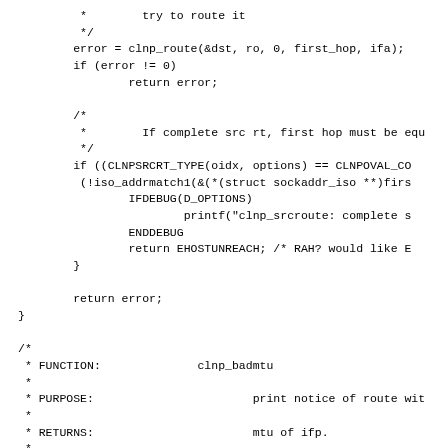Code snippet showing clnp_route and clnp_badmtu function definitions in C